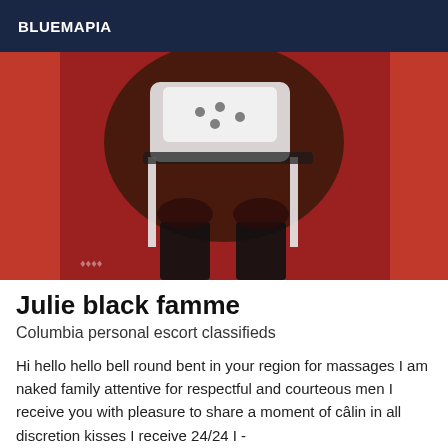BLUEMAPIA
[Figure (photo): A photograph showing a person in lingerie with stockings on a red background.]
Julie black famme
Columbia personal escort classifieds
Hi hello hello bell round bent in your region for massages I am naked family attentive for respectful and courteous men I receive you with pleasure to share a moment of câlin in all discretion kisses I receive 24/24 I -